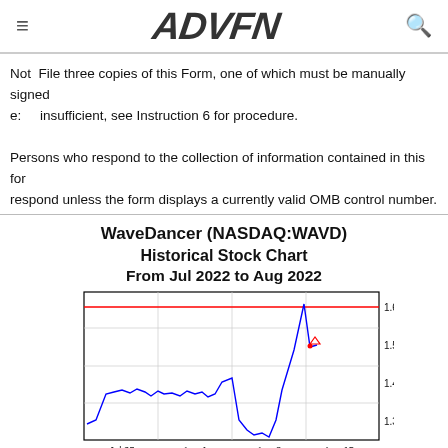ADVFN
Not File three copies of this Form, one of which must be manually signed e: insufficient, see Instruction 6 for procedure.

Persons who respond to the collection of information contained in this for respond unless the form displays a currently valid OMB control number.
WaveDancer (NASDAQ:WAVD)
Historical Stock Chart
From Jul 2022 to Aug 2022
[Figure (continuous-plot): Historical stock chart for WaveDancer (NASDAQ:WAVD) from Jul 2022 to Aug 2022. Line chart showing stock price ranging from approximately 1.26 to 1.65. X-axis labels: Jul 25, Aug 1, Aug 8, Aug 15. Y-axis labels: 1.3, 1.4, 1.5, 1.6. A horizontal red line near the top (~1.62) indicates a reference level. A small red triangle marker appears near Aug 19 at ~1.5. The blue line starts around 1.3, rises to ~1.4 range, dips and spikes near Aug 8 to ~1.5, drops to ~1.24, then spikes sharply to ~1.65 near Aug 19 before dropping to ~1.5.]
(c) www.advfn.com